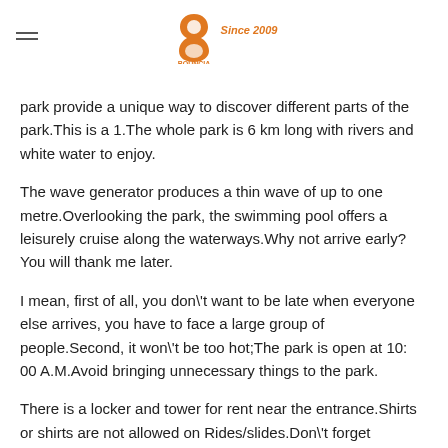Bouncia — Since 2009
park provide a unique way to discover different parts of the park.This is a 1.The whole park is 6 km long with rivers and white water to enjoy.
The wave generator produces a thin wave of up to one metre.Overlooking the park, the swimming pool offers a leisurely cruise along the waterways.Why not arrive early?You will thank me later.
I mean, first of all, you don't want to be late when everyone else arrives, you have to face a large group of people.Second, it won't be too hot;The park is open at 10: 00 A.M.Avoid bringing unnecessary things to the park.
There is a locker and tower for rent near the entrance.Shirts or shirts are not allowed on Rides/slides.Don't forget unnecessary things like selfie sticks and don't take them t…
Sorry if I let you down, it's for your own safety.Ladies, consider
Chat Online